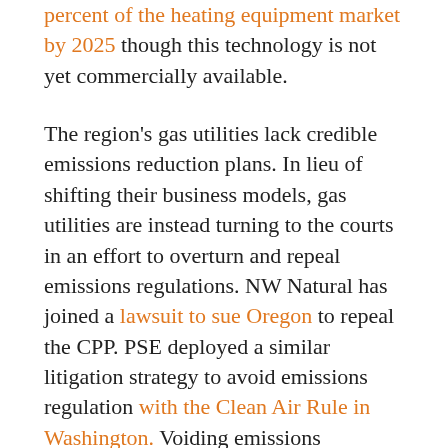percent of the heating equipment market by 2025 though this technology is not yet commercially available.
The region's gas utilities lack credible emissions reduction plans. In lieu of shifting their business models, gas utilities are instead turning to the courts in an effort to overturn and repeal emissions regulations. NW Natural has joined a lawsuit to sue Oregon to repeal the CPP. PSE deployed a similar litigation strategy to avoid emissions regulation with the Clean Air Rule in Washington. Voiding emissions regulation with lawsuits is an unlikely outcome, and so too is maintaining business-as-usual for corporations dealing in fossil fuels.